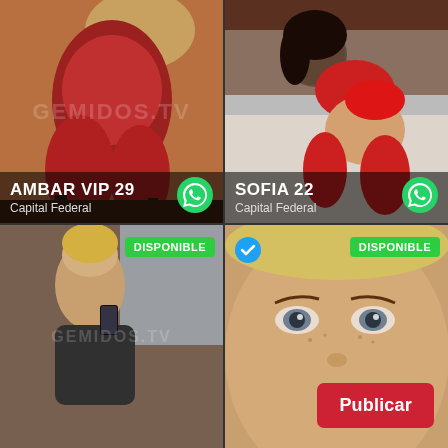[Figure (photo): Top-left: person in red lingerie posing, with watermark GEMIDOS.tv overlay]
AMBAR VIP 29
Capital Federal
[Figure (photo): Top-right: person in red lingerie on bed]
SOFIA 22
Capital Federal
[Figure (photo): Bottom-left: person posing near window, DISPONIBLE badge, GEMIDOS watermark]
DISPONIBLE
[Figure (photo): Bottom-right: close-up face, DISPONIBLE badge, verified icon, Publicar button]
DISPONIBLE
Publicar